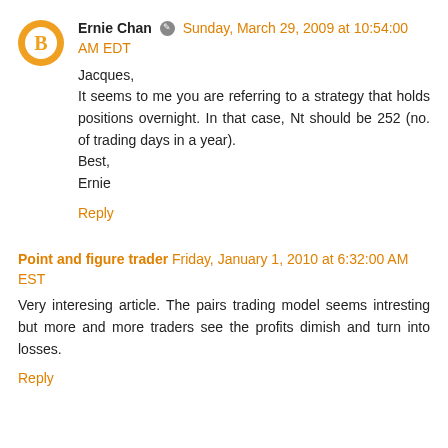Ernie Chan · Sunday, March 29, 2009 at 10:54:00 AM EDT
Jacques,
It seems to me you are referring to a strategy that holds positions overnight. In that case, Nt should be 252 (no. of trading days in a year).
Best,
Ernie
Reply
Point and figure trader  Friday, January 1, 2010 at 6:32:00 AM EST
Very interesing article. The pairs trading model seems intresting but more and more traders see the profits dimish and turn into losses.
Reply